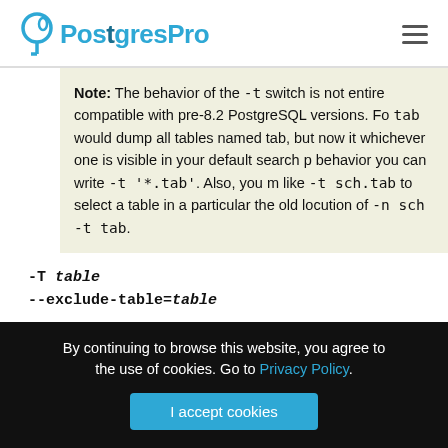PostgresPro
Note: The behavior of the -t switch is not entirely compatible with pre-8.2 PostgreSQL versions. Formerly, -t tab would dump all tables named tab, but now it only dumps whichever one is visible in your default search path. To get the old behavior you can write -t '*.tab'. Also, you must write something like -t sch.tab to select a table in a particular schema, rather than the old locution of -n sch -t tab.
-T table
--exclude-table=table
By continuing to browse this website, you agree to the use of cookies. Go to Privacy Policy.